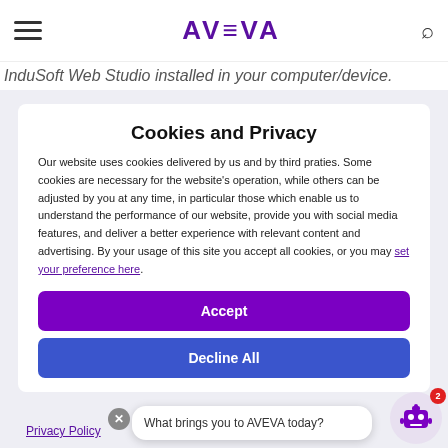AVEVA
InduSoft Web Studio installed in your computer/device.
Cookies and Privacy
Our website uses cookies delivered by us and by third praties. Some cookies are necessary for the website's operation, while others can be adjusted by you at any time, in particular those which enable us to understand the performance of our website, provide you with social media features, and deliver a better experience with relevant content and advertising. By your usage of this site you accept all cookies, or you may set your preference here.
Accept
Decline All
Privacy Policy
What brings you to AVEVA today?